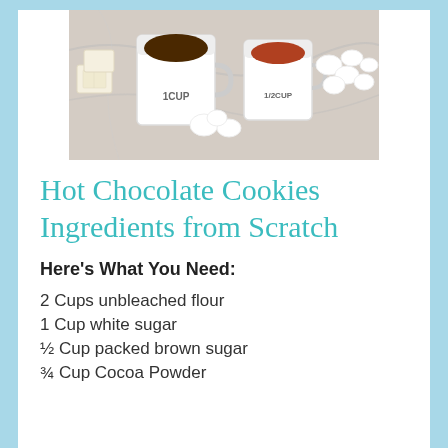[Figure (photo): Photo of baking ingredients including measuring cups labeled 1CUP and 1/2CUP filled with chocolate and cocoa, marshmallows, and white chocolate pieces on a marble surface.]
Hot Chocolate Cookies Ingredients from Scratch
Here’s What You Need:
2 Cups unbleached flour
1 Cup white sugar
½ Cup packed brown sugar
¾ Cup Cocoa Powder